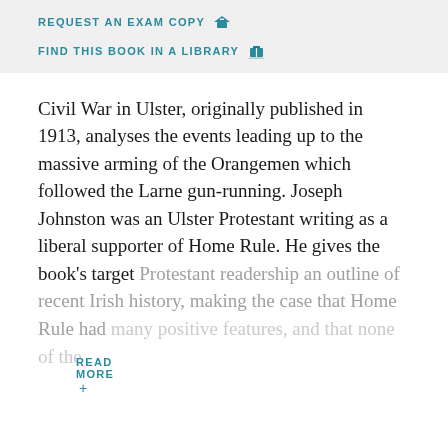REQUEST AN EXAM COPY 🎓
FIND THIS BOOK IN A LIBRARY 📖
Civil War in Ulster, originally published in 1913, analyses the events leading up to the massive arming of the Orangemen which followed the Larne gun-running. Joseph Johnston was an Ulster Protestant writing as a liberal supporter of Home Rule. He gives the book's target Protestant readership an outline of recent Irish history, making the case that Home Rule had many positive features, and that none of the
READ MORE +